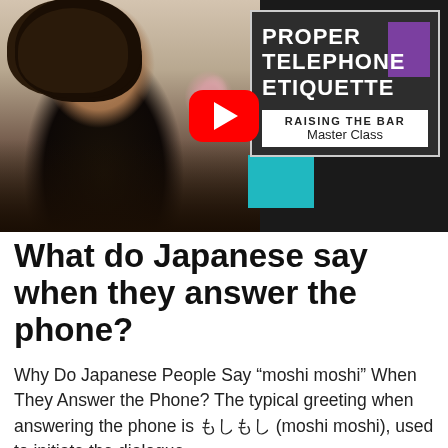[Figure (screenshot): YouTube video thumbnail for 'Proper Telephone Etiquette – Raising the Bar Master Class'. Shows a smiling Black woman with curly hair in a black blazer on the left, a large red YouTube play button in the center, and on the right a dark title card reading 'PROPER TELEPHONE ETIQUETTE' with a purple block accent and below it a white subtitle card reading 'RAISING THE BAR Master Class'. A teal rectangle accent is visible.]
What do Japanese say when they answer the phone?
Why Do Japanese People Say “moshi moshi” When They Answer the Phone? The typical greeting when answering the phone is もしもし (moshi moshi), used to initiate the dialogue.
Why is it rude to talk on the